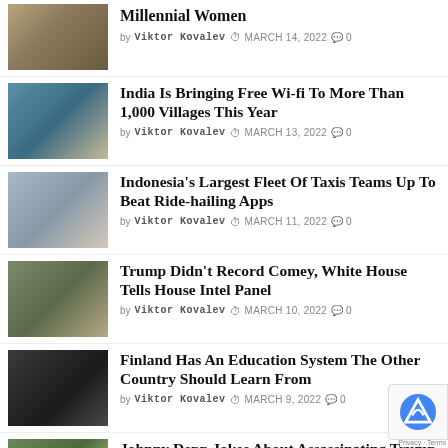Millennial Women — by Viktor Kovalev — MARCH 14, 2022 — 0 comments
India Is Bringing Free Wi-fi To More Than 1,000 Villages This Year — by Viktor Kovalev — MARCH 13, 2022 — 0 comments
Indonesia's Largest Fleet Of Taxis Teams Up To Beat Ride-hailing Apps — by Viktor Kovalev — MARCH 11, 2022 — 0 comments
Trump Didn't Record Comey, White House Tells House Intel Panel — by Viktor Kovalev — MARCH 10, 2022 — 0 comments
Finland Has An Education System The Other Country Should Learn From — by Viktor Kovalev — MARCH 9, 2022 — 0 comments
Johnny Depp Jokes About Assassinating Trump, Then Apologizes